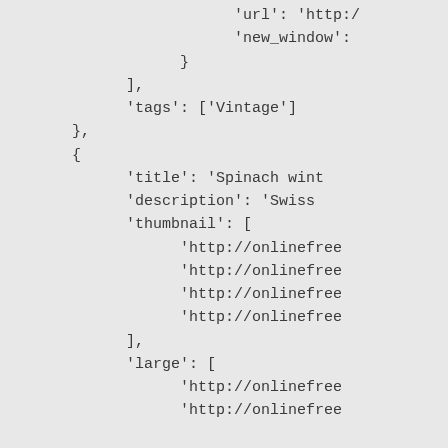'url': 'http:/
        'new_window':
    }
],
'tags': ['Vintage']
},
{
    'title': 'Spinach wint
    'description': 'Swiss
    'thumbnail': [
            'http://onlinefree
            'http://onlinefree
            'http://onlinefree
            'http://onlinefree
    ],
    'large': [
            'http://onlinefree
            'http://onlinefree